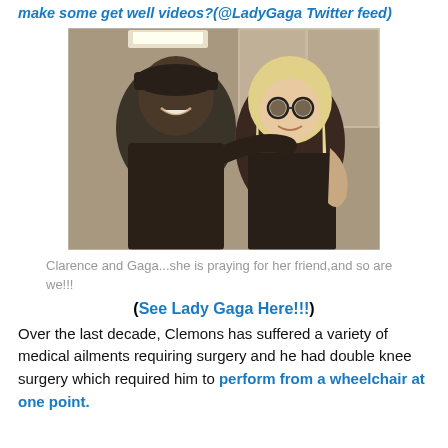make some get well videos?(@LadyGaga Twitter feed)
[Figure (photo): Photo of Clarence and Lady Gaga together, posing close, both smiling. Clarence wears a dark cap and jacket; Gaga has long blonde hair and circular sunglasses.]
Clarence and Gaga...she is praying for her friend,and so are we!!!
(See Lady Gaga Here!!!)
Over the last decade, Clemons has suffered a variety of medical ailments requiring surgery and he had double knee surgery which required him to perform from a wheelchair at one point.